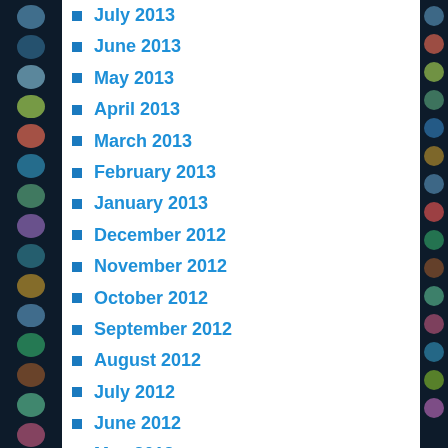July 2013
June 2013
May 2013
April 2013
March 2013
February 2013
January 2013
December 2012
November 2012
October 2012
September 2012
August 2012
July 2012
June 2012
May 2012
April 2012
March 2012
February 2012
January 2012
December 2011
November 2011